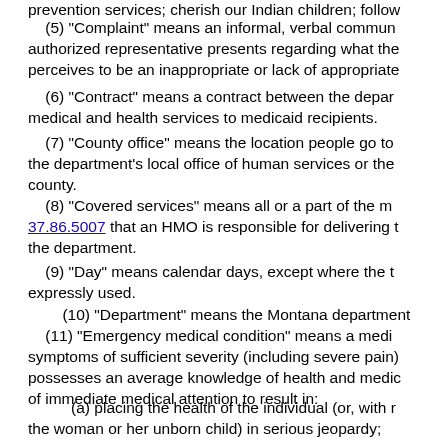prevention services; cherish our Indian children; follow...
(5) "Complaint" means an informal, verbal commun... authorized representative presents regarding what the perceives to be an inappropriate or lack of appropriate...
(6) "Contract" means a contract between the depar... medical and health services to medicaid recipients.
(7) "County office" means the location people go to... the department's local office of human services or the county.
(8) "Covered services" means all or a part of the m... 37.86.5007 that an HMO is responsible for delivering t... the department.
(9) "Day" means calendar days, except where the t... expressly used.
(10) "Department" means the Montana department...
(11) "Emergency medical condition" means a medi... symptoms of sufficient severity (including severe pain) possesses an average knowledge of health and medic... of immediate medical attention to result in:
(a) placing the health of the individual (or, with r... the woman or her unborn child) in serious jeopardy;
(b) serious impairment to bodily functions; or
(c) serious dysfunction of any bodily organ or pa...
(12) "Emergency room screens" means a medical s... of the hospital's emergency department, including stab... whether an emergency medical condition exists.